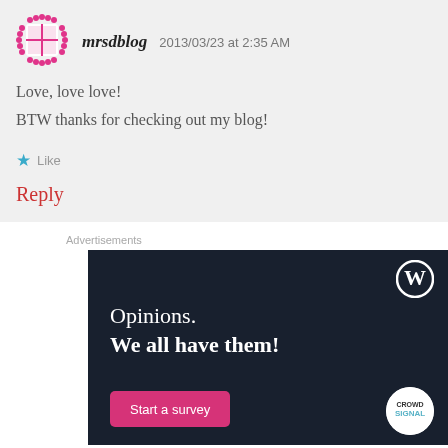[Figure (other): Pink dotted avatar icon for user mrsdblog]
mrsdblog   2013/03/23 at 2:35 AM
Love, love love!
BTW thanks for checking out my blog!
★ Like
Reply
Advertisements
[Figure (screenshot): WordPress advertisement banner with dark navy background, WordPress logo top right, text 'Opinions. We all have them!', a pink 'Start a survey' button, and Crowdsignal logo bottom right.]